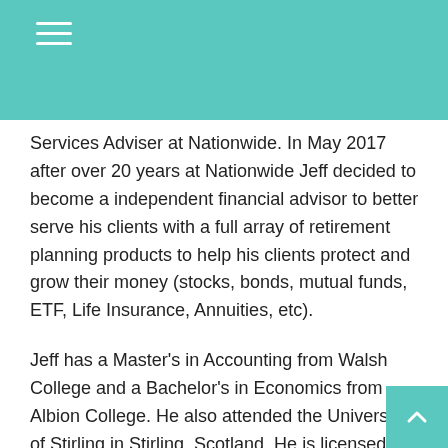Services Adviser at Nationwide. In May 2017 after over 20 years at Nationwide Jeff decided to become a independent financial advisor to better serve his clients with a full array of retirement planning products to help his clients protect and grow their money (stocks, bonds, mutual funds, ETF, Life Insurance, Annuities, etc).
Jeff has a Master's in Accounting from Walsh College and a Bachelor's in Economics from Albion College. He also attended the University of Stirling in Stirling, Scotland. He is licensed in Life, Health, and is registered to offer securities products in multiple states.
Jeff's family of 5 is his greatest pride and joy.  Jeff believes strongly in giving back and has been actively involved in various volunteer ministries since the early 1990's (Ja..., prisons, nursing homes, youth and men's ministry).  He